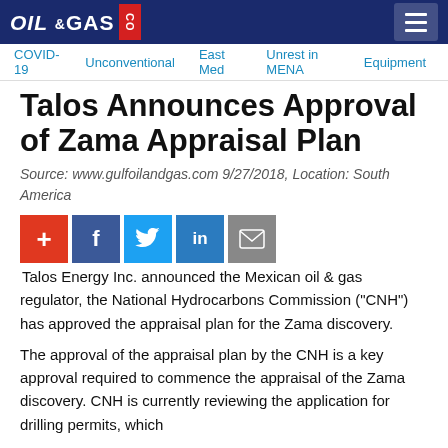OIL & GAS CO
COVID-19  Unconventional  East Med  Unrest in MENA  Equipment
Talos Announces Approval of Zama Appraisal Plan
Source: www.gulfoilandgas.com 9/27/2018, Location: South America
[Figure (infographic): Social sharing icons: plus, Facebook, Twitter, LinkedIn, email]
Talos Energy Inc. announced the Mexican oil & gas regulator, the National Hydrocarbons Commission ("CNH") has approved the appraisal plan for the Zama discovery.
The approval of the appraisal plan by the CNH is a key approval required to commence the appraisal of the Zama discovery. CNH is currently reviewing the application for drilling permits, which